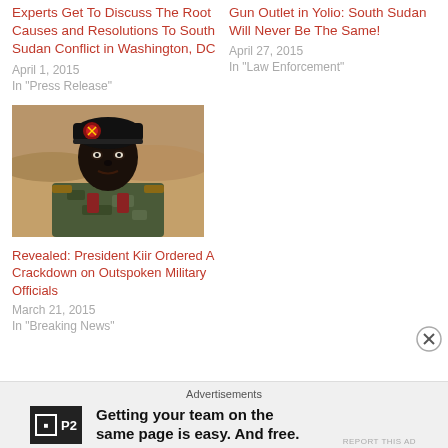Experts Get To Discuss The Root Causes and Resolutions To South Sudan Conflict in Washington, DC
April 1, 2015
In "Press Release"
Gun Outlet in Yolio: South Sudan Will Never Be The Same!
April 27, 2015
In "Law Enforcement"
[Figure (photo): A military official in camouflage uniform wearing a black beret with insignia, photographed outdoors in a desert/arid landscape setting]
Revealed: President Kiir Ordered A Crackdown on Outspoken Military Officials
March 21, 2015
In "Breaking News"
Advertisements
Getting your team on the same page is easy. And free.